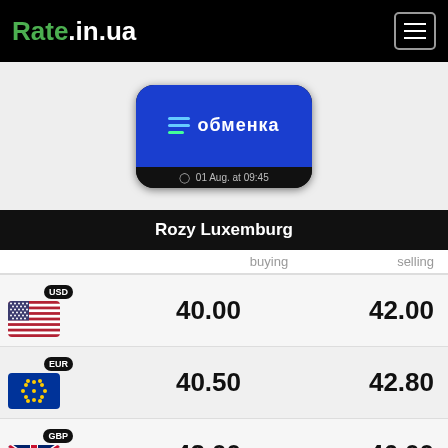Rate.in.ua
[Figure (screenshot): Obmenka app logo on phone mockup with timestamp 01 Aug. at 09:45]
Rozy Luxemburg
| Currency | buying | selling |
| --- | --- | --- |
| USD | 40.00 | 42.00 |
| EUR | 40.50 | 42.80 |
| GBP | 43.00 | 46.00 |
| CHF | — | — |
| PLN | — | — |